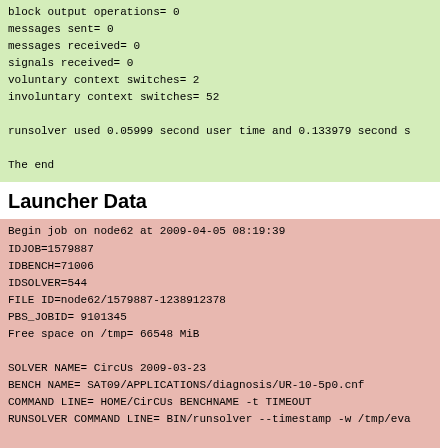block output operations= 0
messages sent= 0
messages received= 0
signals received= 0
voluntary context switches= 2
involuntary context switches= 52

runsolver used 0.05999 second user time and 0.133979 second s

The end
Launcher Data
Begin job on node62 at 2009-04-05 08:19:39
IDJOB=1579887
IDBENCH=71006
IDSOLVER=544
FILE ID=node62/1579887-1238912378
PBS_JOBID= 9101345
Free space on /tmp= 66548 MiB

SOLVER NAME= CircUs 2009-03-23
BENCH NAME= SAT09/APPLICATIONS/diagnosis/UR-10-5p0.cnf
COMMAND LINE= HOME/CirCUs BENCHNAME -t TIMEOUT
RUNSOLVER COMMAND LINE= BIN/runsolver --timestamp -w /tmp/eva

TIME LIMIT= 1200 seconds
MEMORY LIMIT= 1800 MiB
MAX NB THREAD= 0

MD5SUM BENCH= e024fd9d9cdae82453a8cdaa74d08481